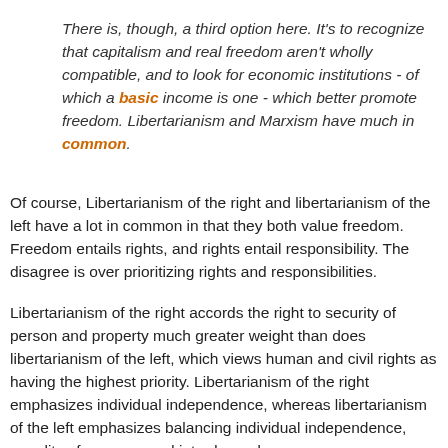There is, though, a third option here. It's to recognize that capitalism and real freedom aren't wholly compatible, and to look for economic institutions - of which a basic income is one - which better promote freedom. Libertarianism and Marxism have much in common.
Of course, Libertarianism of the right and libertarianism of the left have a lot in common in that they both value freedom. Freedom entails rights, and rights entail responsibility. The disagree is over prioritizing rights and responsibilities.
Libertarianism of the right accords the right to security of person and property much greater weight than does libertarianism of the left, which views human and civil rights as having the highest priority. Libertarianism of the right emphasizes individual independence, whereas libertarianism of the left emphasizes balancing individual independence, equality of persons, and interdependence.